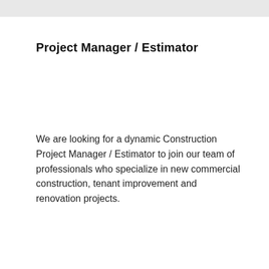Project Manager / Estimator
We are looking for a dynamic Construction Project Manager / Estimator to join our team of professionals who specialize in new commercial construction, tenant improvement and renovation projects.